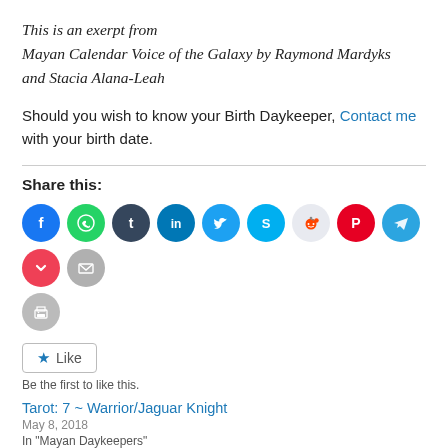This is an exerpt from
Mayan Calendar Voice of the Galaxy by Raymond Mardyks and Stacia Alana-Leah
Should you wish to know your Birth Daykeeper, Contact me with your birth date.
Share this:
[Figure (infographic): Row of social media sharing icon circles: Facebook (blue), WhatsApp (green), Tumblr (dark navy), LinkedIn (dark blue), Twitter (light blue), Skype (cyan), Reddit (light grey), Pinterest (red), Telegram (blue), Pocket (red), Email (grey), Print (grey)]
Like
Be the first to like this.
Tarot: 7 ~ Warrior/Jaguar Knight
May 8, 2018
In "Mayan Daykeepers"